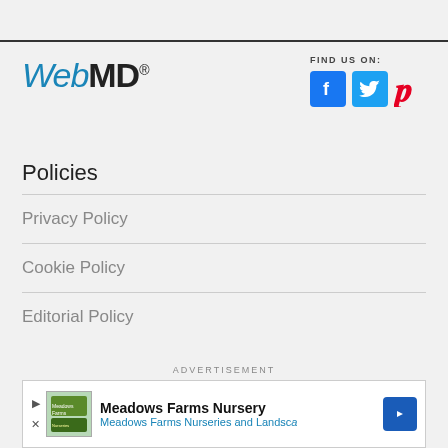[Figure (logo): WebMD logo with italic blue 'Web' and bold dark 'MD' with registered trademark symbol]
[Figure (infographic): FIND US ON: with Facebook, Twitter, and Pinterest social media icons]
Policies
Privacy Policy
Cookie Policy
Editorial Policy
ADVERTISEMENT
[Figure (screenshot): Advertisement for Meadows Farms Nursery showing logo image, text 'Meadows Farms Nursery' and 'Meadows Farms Nurseries and Landsce', with a blue diamond directional arrow icon]